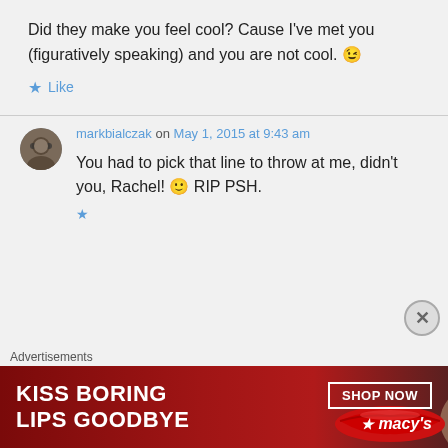Did they make you feel cool? Cause I've met you (figuratively speaking) and you are not cool. 😉
★ Like
markbialczak on May 1, 2015 at 9:43 am
You had to pick that line to throw at me, didn't you, Rachel! 🙂 RIP PSH.
Advertisements
[Figure (illustration): Macy's advertisement banner: 'KISS BORING LIPS GOODBYE' with SHOP NOW button and Macy's star logo on dark red background with image of woman's lips]